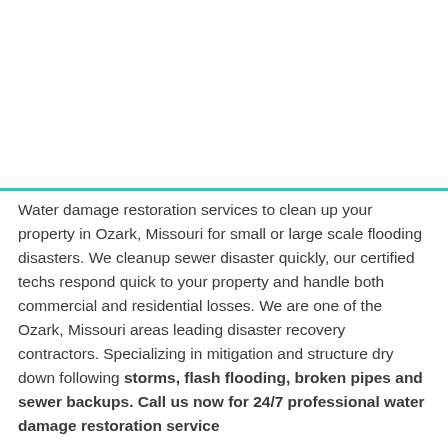Water damage restoration services to clean up your property in Ozark, Missouri for small or large scale flooding disasters. We cleanup sewer disaster quickly, our certified techs respond quick to your property and handle both commercial and residential losses. We are one of the Ozark, Missouri areas leading disaster recovery contractors. Specializing in mitigation and structure dry down following storms, flash flooding, broken pipes and sewer backups. Call us now for 24/7 professional water damage restoration service